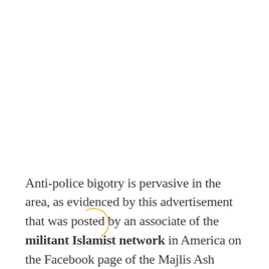Anti-police bigotry is pervasive in the area, as evidenced by this advertisement that was posted by an associate of the militant Islamist network in America on the Facebook page of the Majlis Ash